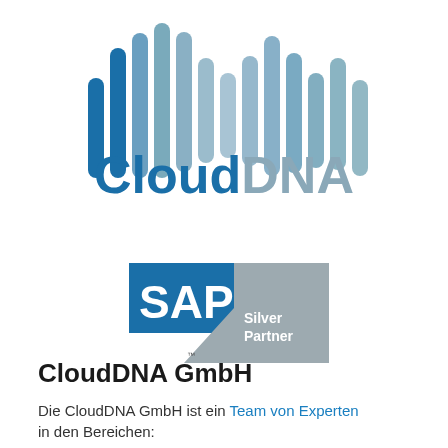[Figure (logo): CloudDNA logo with waveform bars above and 'CloudDNA' text below, 'Cloud' in dark blue and 'DNA' in gray]
[Figure (logo): SAP Silver Partner badge logo]
CloudDNA GmbH
Die CloudDNA GmbH ist ein Team von Experten in den Bereichen: